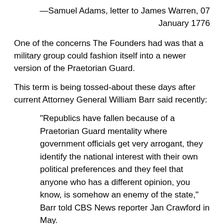—Samuel Adams, letter to James Warren, 07 January 1776
One of the concerns The Founders had was that a military group could fashion itself into a newer version of the Praetorian Guard.
This term is being tossed-about these days after current Attorney General William Barr said recently:
“Republics have fallen because of a Praetorian Guard mentality where government officials get very arrogant, they identify the national interest with their own political preferences and they feel that anyone who has a different opinion, you know, is somehow an enemy of the state,” Barr told CBS News reporter Jan Crawford in May.